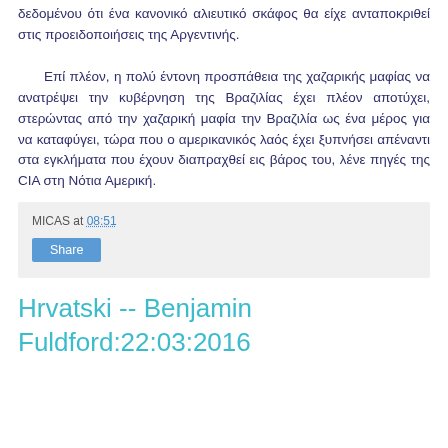δεδομένου ότι ένα κανονικό αλιευτικό σκάφος θα είχε ανταποκριθεί στις προειδοποιήσεις της Αργεντινής.

Επί πλέον, η πολύ έντονη προσπάθεια της χαζαρικής μαφίας να ανατρέψει την κυβέρνηση της Βραζιλίας έχει πλέον αποτύχει, στερώντας από την χαζαρική μαφία την Βραζιλία ως ένα μέρος για να καταφύγει, τώρα που ο αμερικανικός λαός έχει ξυπνήσει απέναντι στα εγκλήματα που έχουν διαπραχθεί εις βάρος του, λένε πηγές της CIA στη Νότια Αμερική.
MICAS at 08:51
Share
Hrvatski -- Benjamin Fuldford:22:03:2016